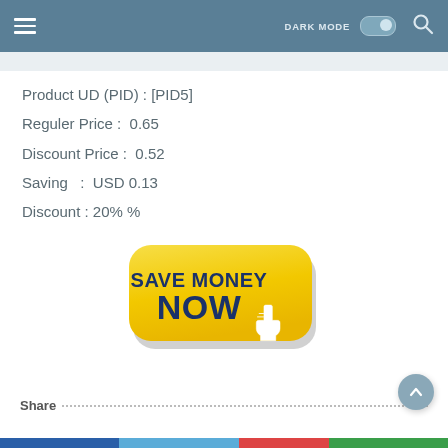DARK MODE [toggle] [search]
Product UD (PID) : [PID5]
Reguler Price :  0.65
Discount Price :  0.52
Saving   :  USD 0.13
Discount : 20% %
[Figure (illustration): Yellow rounded-rectangle button with dark blue bold text reading SAVE MONEY NOW with a white cursor hand icon pointing at it]
Share